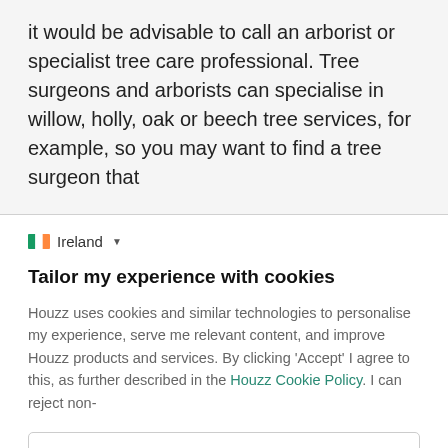it would be advisable to call an arborist or specialist tree care professional. Tree surgeons and arborists can specialise in willow, holly, oak or beech tree services, for example, so you may want to find a tree surgeon that
Ireland (dropdown)
Tailor my experience with cookies
Houzz uses cookies and similar technologies to personalise my experience, serve me relevant content, and improve Houzz products and services. By clicking 'Accept' I agree to this, as further described in the Houzz Cookie Policy. I can reject non-
Manage Preferences
Accept